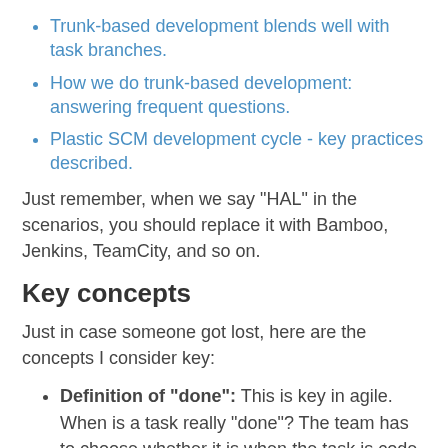Trunk-based development blends well with task branches.
How we do trunk-based development: answering frequent questions.
Plastic SCM development cycle - key practices described.
Just remember, when we say "HAL" in the scenarios, you should replace it with Bamboo, Jenkins, TeamCity, and so on.
Key concepts
Just in case someone got lost, here are the concepts I consider key:
Definition of "done": This is key in agile. When is a task really "done"? The team has to choose whether it is when the task is code complete, reviewed, tested, merged or delivered to production. These days, "delivered to production"